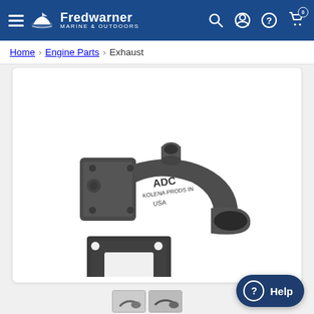Fredwarner Marine & Outdoors — navigation header with hamburger menu, logo, search, account, help, and cart icons
Home › Engine Parts › Exhaust
[Figure (photo): Cast iron exhaust elbow/riser component (ADC brand, made in USA) with a matching flat rectangular gasket, both shown on white background. The elbow is dark gray cast iron with a threaded port on top and a flanged mounting face, angling approximately 45 degrees.]
[Figure (photo): Thumbnail 1 of product]
[Figure (photo): Thumbnail 2 of product]